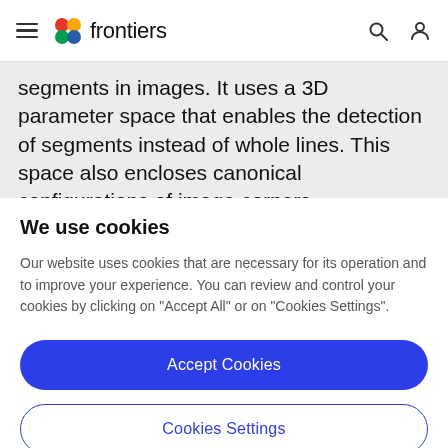frontiers
segments in images. It uses a 3D parameter space that enables the detection of segments instead of whole lines. This space also encloses canonical configurations of image corners, transforming corner detection into a
We use cookies
Our website uses cookies that are necessary for its operation and to improve your experience. You can review and control your cookies by clicking on "Accept All" or on "Cookies Settings".
Accept Cookies
Cookies Settings